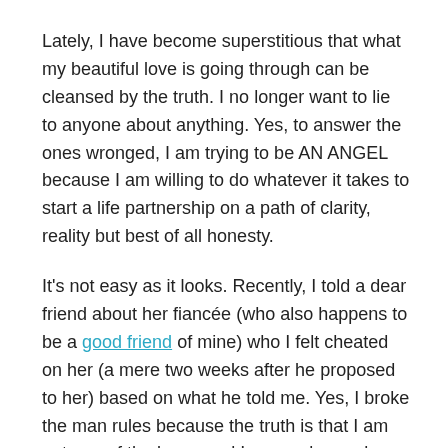Lately, I have become superstitious that what my beautiful love is going through can be cleansed by the truth.  I no longer want to lie to anyone about anything.  Yes, to answer the ones wronged, I am trying to be AN ANGEL because I am willing to do whatever it takes to start a life partnership on a path of clarity, reality but best of all honesty.
It's not easy as it looks.  Recently, I told a dear friend about her fiancée (who also happens to be a good friend of mine) who I felt cheated on her (a mere two weeks after he proposed to her) based on what he told me.  Yes, I broke the man rules because the truth is that I am not one of the boys, and I can no longer keep quiet on what is wrong.  As someone pointed out, as long as your know you will lose one friend, then go for it.  And I did, and the only thing I really have to show for it is that my conscience is clear, I am less one friend and discovering that the person I thought to be